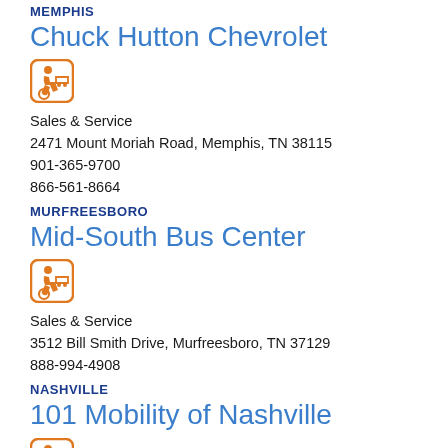MEMPHIS
Chuck Hutton Chevrolet
[Figure (other): Wheelchair accessible vehicle icon in orange rounded square]
Sales & Service
2471 Mount Moriah Road, Memphis, TN 38115
901-365-9700
866-561-8664
MURFREESBORO
Mid-South Bus Center
[Figure (other): Wheelchair accessible vehicle icon in orange rounded square]
Sales & Service
3512 Bill Smith Drive, Murfreesboro, TN 37129
888-994-4908
NASHVILLE
101 Mobility of Nashville
[Figure (other): Wheelchair accessible vehicle icon in orange rounded square]
Sales & Installation
205 Powell Place, Nashville, TN 37027